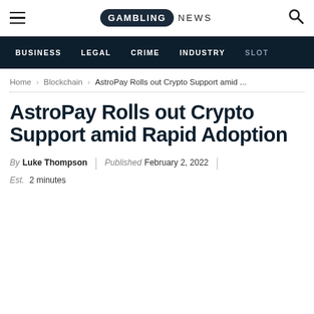GAMBLING NEWS
BUSINESS | LEGAL | CRIME | INDUSTRY | SLOT
Home > Blockchain > AstroPay Rolls out Crypto Support amid ...
AstroPay Rolls out Crypto Support amid Rapid Adoption
By Luke Thompson | Published February 2, 2022 |
Est. 2 minutes